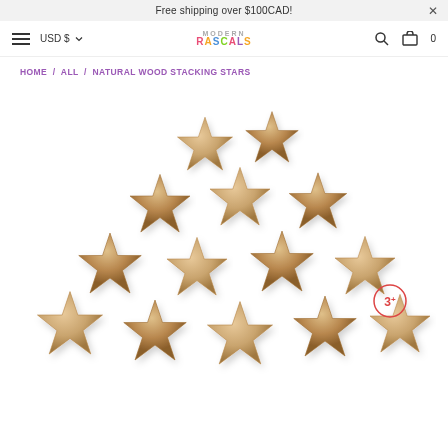Free shipping over $100CAD!
USD $ | Modern Rascals | Search | Cart 0
HOME / ALL / NATURAL WOOD STACKING STARS
[Figure (photo): Stack of natural wood star-shaped toy blocks arranged in a pyramid, with an age badge showing 3+]